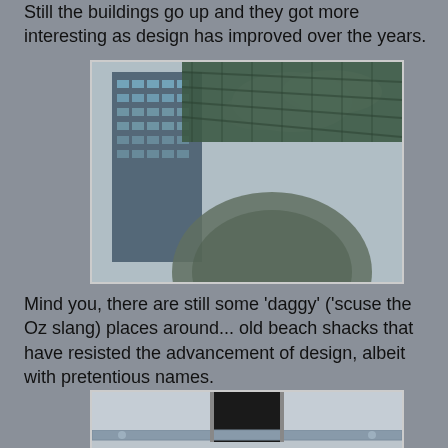Still the buildings go up and they got more interesting as design has improved over the years.
[Figure (photo): Upward-angle photograph of a modern glass skyscraper alongside a dome and decorative metallic mesh canopy structure against a cloudy sky.]
Mind you, there are still some 'daggy' ('scuse the Oz slang) places around... old beach shacks that have resisted the advancement of design, albeit with pretentious names.
[Figure (photo): Partial photograph of a weathered beach shack exterior showing a horizontal metal bar/rail and a dark doorway.]